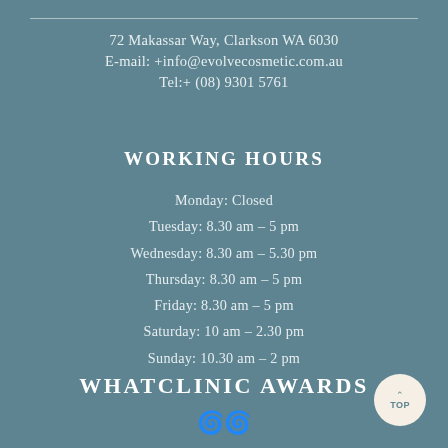72 Makassar Way, Clarkson WA 6030
E-mail: +info@evolvecosmetic.com.au
Tel:+ (08) 9301 5761
WORKING HOURS
Monday: Closed
Tuesday: 8.30 am – 5 pm
Wednesday: 8.30 am – 5.30 pm
Thursday: 8.30 am – 5 pm
Friday: 8.30 am – 5 pm
Saturday: 10 am – 2.30 pm
Sunday: 10.30 am – 2 pm
WHATCLINIC AWARDS